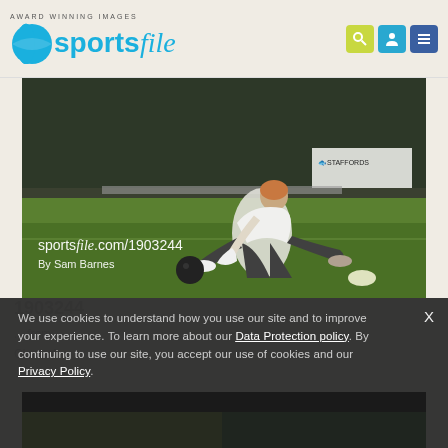AWARD WINNING IMAGES sportsfile
[Figure (photo): Woman playing lawn bowls, lunging forward to deliver the bowl on a green. Watermark text: sportsfile.com/1903244. By Sam Barnes. Staffords signage visible in background.]
We use cookies to understand how you use our site and to improve your experience. To learn more about our Data Protection policy. By continuing to use our site, you accept our use of cookies and our Privacy Policy.
[Figure (photo): Partial bottom strip showing a dark outdoor scene, partially obscured by cookie overlay.]